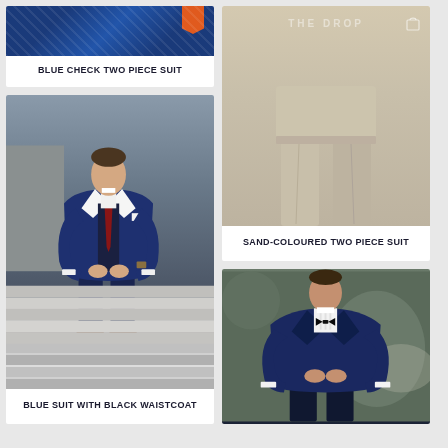[Figure (photo): Blue check suit jacket top portion shown against blue checkered fabric background]
BLUE CHECK TWO PIECE SUIT
[Figure (photo): Sand-coloured two piece suit lower body shot showing trousers on light background with watermark text]
SAND-COLOURED TWO PIECE SUIT
[Figure (photo): Man in blue suit with black waistcoat and red tie walking up concrete stairs]
BLUE SUIT WITH BLACK WAISTCOAT
[Figure (photo): Man in navy tuxedo with black bow tie buttoning jacket outdoors]